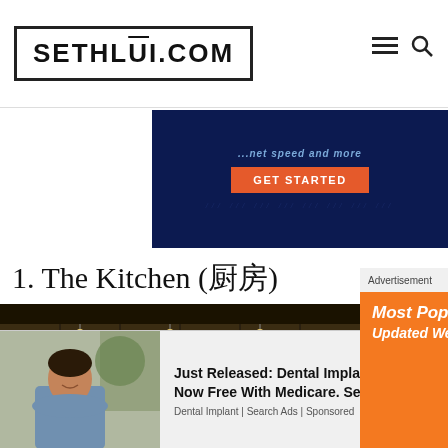SETHLUI.COM
[Figure (screenshot): Dark navy blue advertisement banner with orange 'GET STARTED' button and italic text about speed]
1. The Kitchen (厨房)
[Figure (photo): Exterior photo of The Kitchen restaurant at night, showing illuminated signage 'The Kitch...' with warm interior lighting visible through glass windows]
[Figure (screenshot): Orange advertisement popup showing 'Most Popular Products Updated Weekly!' with shopping/tech icons on orange background]
[Figure (screenshot): Bottom ad bar showing a smiling woman photo and text 'Just Released: Dental Implants Are Now Free With Medicare. See Options' with 'Dental Implant | Search Ads | Sponsored']